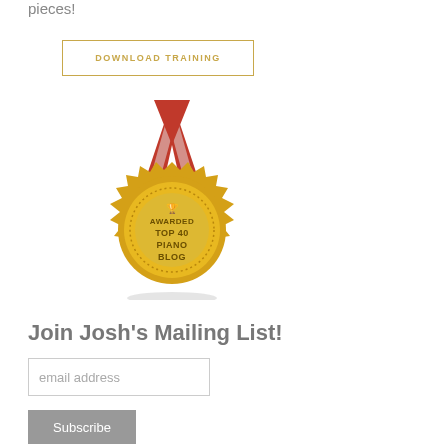pieces!
[Figure (illustration): A gold medal badge with red and white ribbon, reading 'AWARDED TOP 40 PIANO BLOG' with a dotted border around the inner circle and a trophy icon at top]
Join Josh's Mailing List!
email address
Subscribe